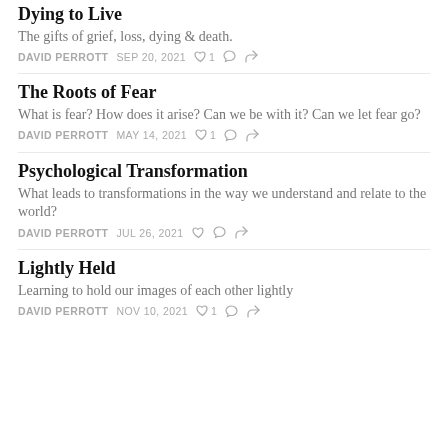Dying to Live
The gifts of grief, loss, dying & death.
DAVID PERROTT   SEP 20, 2021   ♡ 1
The Roots of Fear
What is fear? How does it arise? Can we be with it? Can we let fear go?
DAVID PERROTT   MAY 14, 2021   ♡ 1
Psychological Transformation
What leads to transformations in the way we understand and relate to the world?
DAVID PERROTT   JUL 26, 2021
Lightly Held
Learning to hold our images of each other lightly
DAVID PERROTT   NOV 10, 2021   ♡ 1